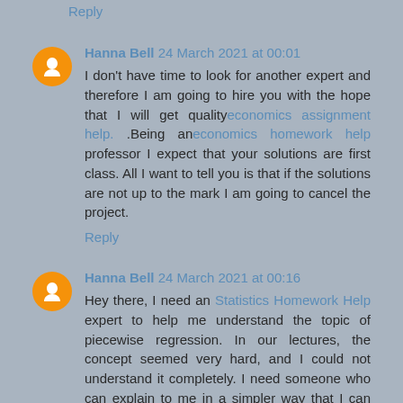Reply
Hanna Bell 24 March 2021 at 00:01
I don't have time to look for another expert and therefore I am going to hire you with the hope that I will get qualityeconomics assignment help. .Being aneconomics homework help professor I expect that your solutions are first class. All I want to tell you is that if the solutions are not up to the mark I am going to cancel the project.
Reply
Hanna Bell 24 March 2021 at 00:16
Hey there, I need an Statistics Homework Help expert to help me understand the topic of piecewise regression. In our lectures, the concept seemed very hard, and I could not understand it completely. I need someone who can explain to me in a simpler way that I can understand the topic. he/she should explain to me which is the best model, the